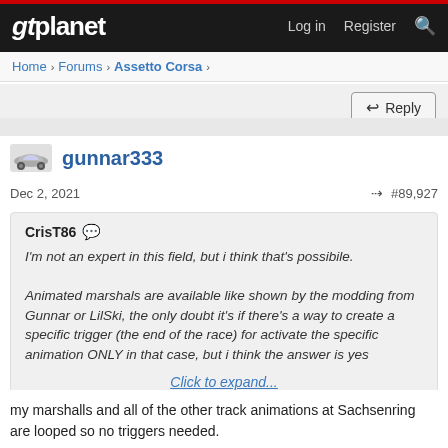gtplanet — Log in  Register
Home > Forums > Assetto Corsa >
Reply
gunnar333
Dec 2, 2021  #89,927
CrisT86
I'm not an expert in this field, but i think that's possibile.

Animated marshals are available like shown by the modding from Gunnar or LilSki, the only doubt it's if there's a way to create a specific trigger (the end of the race) for activate the specific animation ONLY in that case, but i think the answer is yes

Click to expand...
my marshalls and all of the other track animations at Sachsenring are looped so no triggers needed.